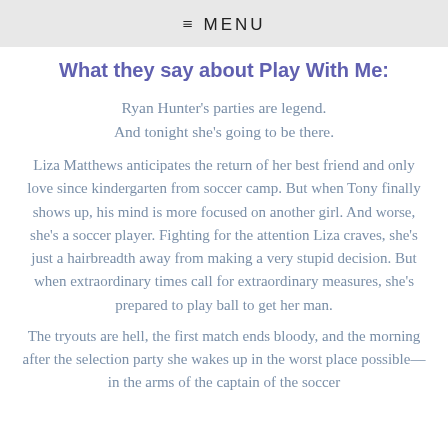≡ MENU
What they say about Play With Me:
Ryan Hunter's parties are legend.
And tonight she's going to be there.
Liza Matthews anticipates the return of her best friend and only love since kindergarten from soccer camp. But when Tony finally shows up, his mind is more focused on another girl. And worse, she's a soccer player. Fighting for the attention Liza craves, she's just a hairbreadth away from making a very stupid decision. But when extraordinary times call for extraordinary measures, she's prepared to play ball to get her man.
The tryouts are hell, the first match ends bloody, and the morning after the selection party she wakes up in the worst place possible—in the arms of the captain of the soccer